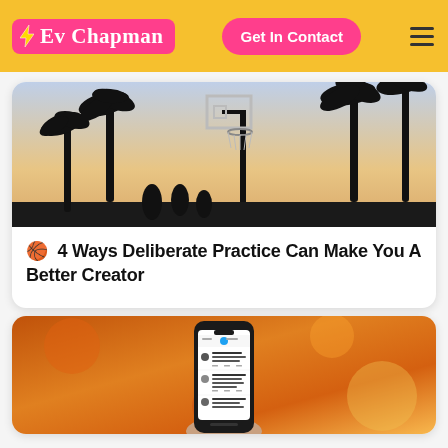Ev Chapman — Get In Contact
[Figure (photo): Basketball hoop silhouette against a sunset sky with palm trees]
🏀 4 Ways Deliberate Practice Can Make You A Better Creator
[Figure (photo): Hand holding a smartphone showing a Twitter/X feed with social media posts]